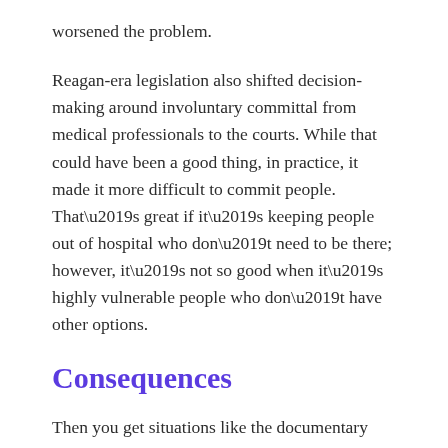worsened the problem.
Reagan-era legislation also shifted decision-making around involuntary committal from medical professionals to the courts. While that could have been a good thing, in practice, it made it more difficult to commit people. That’s great if it’s keeping people out of hospital who don’t need to be there; however, it’s not so good when it’s highly vulnerable people who don’t have other options.
Consequences
Then you get situations like the documentary God Knows Where I Am. It tells the heartbreaking story of a woman whose bipolar psychosis couldn’t be treated in hospital because that would have required a guardianship order, which a court would not approve. Since the hospital’s